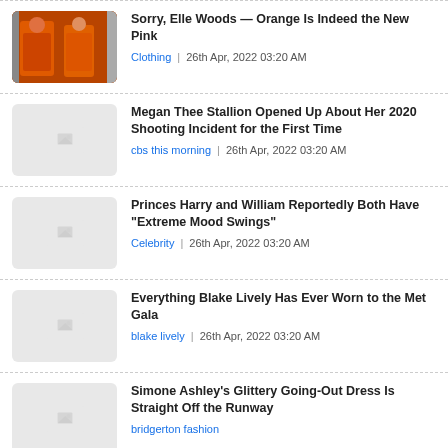Sorry, Elle Woods — Orange Is Indeed the New Pink | Clothing | 26th Apr, 2022 03:20 AM
Megan Thee Stallion Opened Up About Her 2020 Shooting Incident for the First Time | cbs this morning | 26th Apr, 2022 03:20 AM
Princes Harry and William Reportedly Both Have "Extreme Mood Swings" | Celebrity | 26th Apr, 2022 03:20 AM
Everything Blake Lively Has Ever Worn to the Met Gala | blake lively | 26th Apr, 2022 03:20 AM
Simone Ashley&#x27;s Glittery Going-Out Dress Is Straight Off the Runway | bridgerton fashion